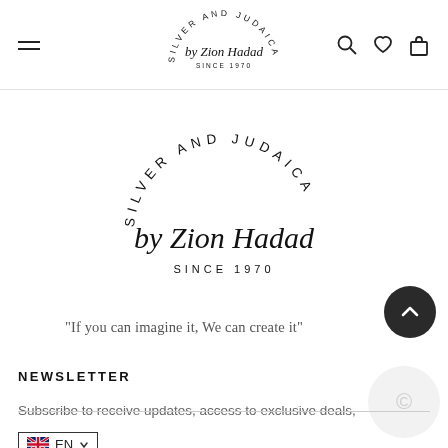Silver and Judaica by Zion Hadad SINCE 1970 — navigation header
[Figure (logo): Silver and Judaica by Zion Hadad SINCE 1970 circular logo — large centered version]
“If you can imagine it, We can create it”
NEWSLETTER
Subscribe to receive updates, access to exclusive deals,
EN